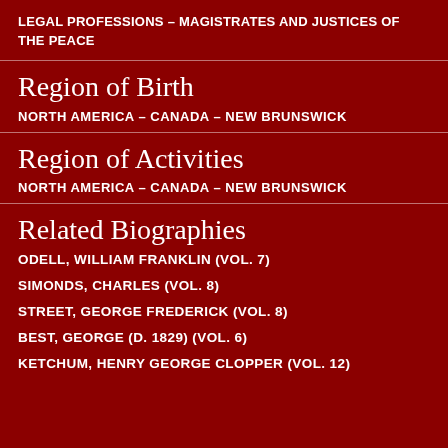LEGAL PROFESSIONS – MAGISTRATES AND JUSTICES OF THE PEACE
Region of Birth
NORTH AMERICA – CANADA – NEW BRUNSWICK
Region of Activities
NORTH AMERICA – CANADA – NEW BRUNSWICK
Related Biographies
ODELL, WILLIAM FRANKLIN (VOL. 7)
SIMONDS, CHARLES (VOL. 8)
STREET, GEORGE FREDERICK (VOL. 8)
BEST, GEORGE (D. 1829) (VOL. 6)
KETCHUM, HENRY GEORGE CLOPPER (VOL. 12)